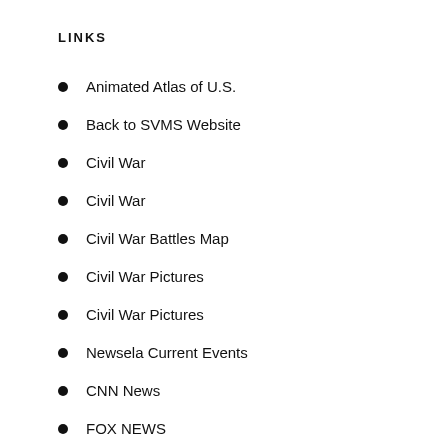LINKS
Animated Atlas of U.S.
Back to SVMS Website
Civil War
Civil War
Civil War Battles Map
Civil War Pictures
Civil War Pictures
Newsela Current Events
CNN News
FOX NEWS